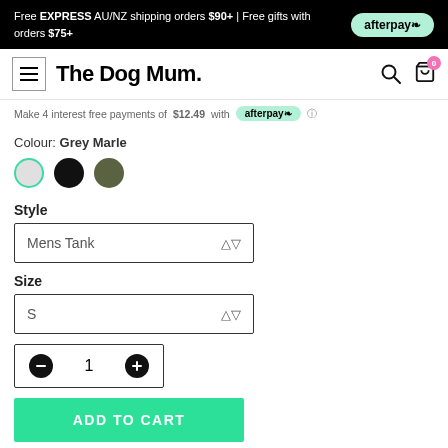Free EXPRESS AU/NZ shipping orders $90+ | Free gifts with orders $75+
The Dog Mum.
Make 4 interest free payments of $12.49 with afterpay
Colour: Grey Marle
Style
Mens Tank
Size
S
1
ADD TO CART